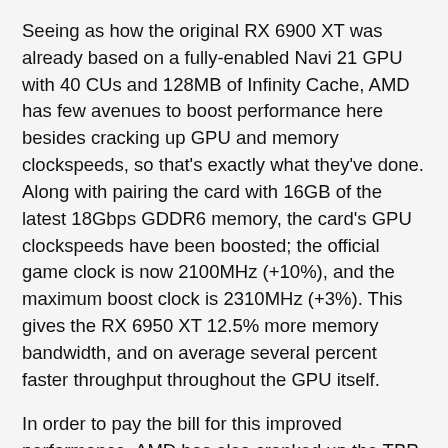Seeing as how the original RX 6900 XT was already based on a fully-enabled Navi 21 GPU with 40 CUs and 128MB of Infinity Cache, AMD has few avenues to boost performance here besides cracking up GPU and memory clockspeeds, so that's exactly what they've done. Along with pairing the card with 16GB of the latest 18Gbps GDDR6 memory, the card's GPU clockspeeds have been boosted; the official game clock is now 2100MHz (+10%), and the maximum boost clock is 2310MHz (+3%). This gives the RX 6950 XT 12.5% more memory bandwidth, and on average several percent faster throughput throughout the GPU itself.
In order to pay the bill for this improved performance, AMD has also cranked up the TBP. Whereas the original RX 6900 XT was a 300W card, the RX 6950 XT is a 335W card at reference specifications, and board partners can always crank that up further. AMD at this point is playing at the far end of the voltage/frequency curve for their parts, and while raising the TBP does allow for improved performance by allowing the card to get closer to its max GPU clockspeed more often, they are well into diminishing returns at this point. All of which is further reflected in AMD's official performance figures, which have the RX 6950 XT landing at about 4% faster than the original RX 6900.